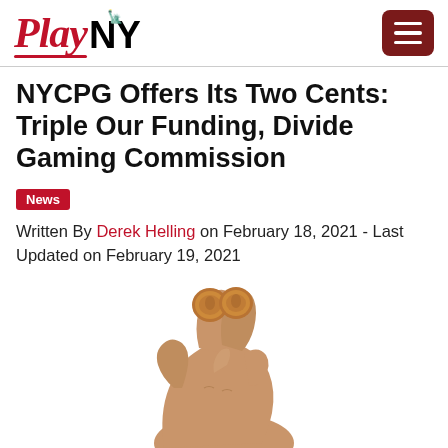PlayNY
NYCPG Offers Its Two Cents: Triple Our Funding, Divide Gaming Commission
News
Written By Derek Helling on February 18, 2021 - Last Updated on February 19, 2021
[Figure (photo): A hand holding two pennies (cents) between fingers, shown from the front against a white background.]